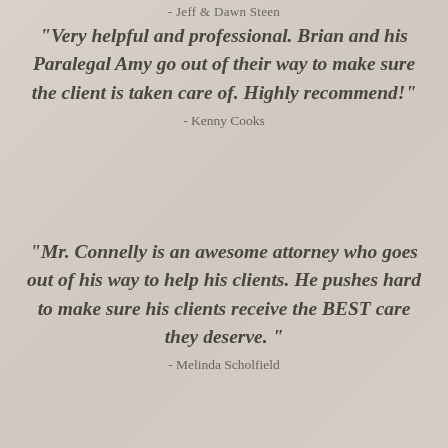- Jeff & Dawn Steen
"Very helpful and professional. Brian and his Paralegal Amy go out of their way to make sure the client is taken care of. Highly recommend!"
- Kenny Cooks
"Mr. Connelly is an awesome attorney who goes out of his way to help his clients. He pushes hard to make sure his clients receive the BEST care they deserve. "
- Melinda Scholfield